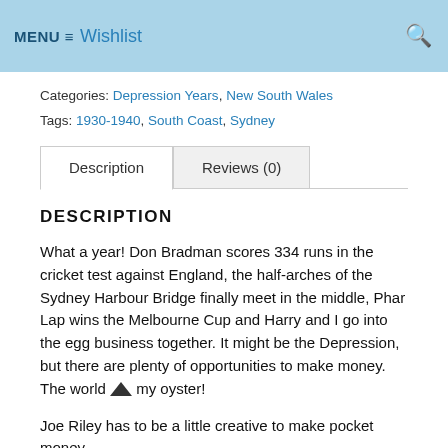MENU ≡ Wishlist
Categories: Depression Years, New South Wales
Tags: 1930-1940, South Coast, Sydney
Description | Reviews (0)
DESCRIPTION
What a year! Don Bradman scores 334 runs in the cricket test against England, the half-arches of the Sydney Harbour Bridge finally meet in the middle, Phar Lap wins the Melbourne Cup and Harry and I go into the egg business together. It might be the Depression, but there are plenty of opportunities to make money. The world is my oyster!
Joe Riley has to be a little creative to make pocket money